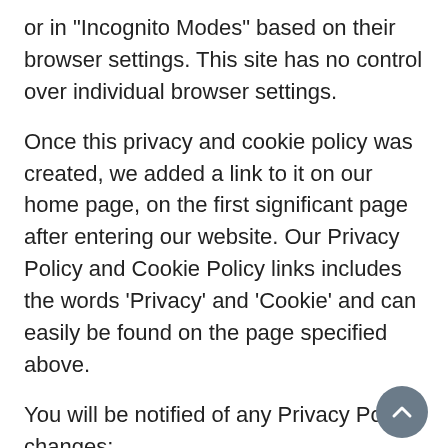or in "Incognito Modes" based on their browser settings. This site has no control over individual browser settings.
Once this privacy and cookie policy was created, we added a link to it on our home page, on the first significant page after entering our website. Our Privacy Policy and Cookie Policy links includes the words 'Privacy' and 'Cookie' and can easily be found on the page specified above.
You will be notified of any Privacy Policy changes:
• On our Privacy Policy Page
Can change your personal information:
• By emailing us